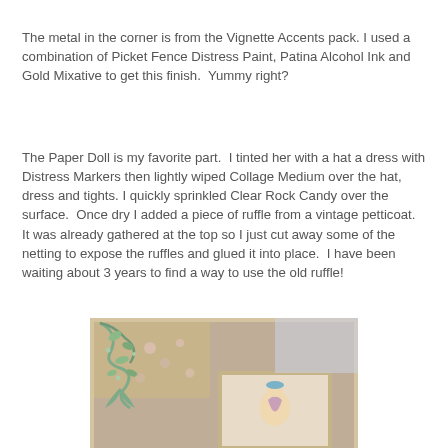The metal in the corner is from the Vignette Accents pack. I used a combination of Picket Fence Distress Paint, Patina Alcohol Ink and Gold Mixative to get this finish.  Yummy right?
The Paper Doll is my favorite part.  I tinted her with a hat a dress with Distress Markers then lightly wiped Collage Medium over the hat, dress and tights. I quickly sprinkled Clear Rock Candy over the surface.  Once dry I added a piece of ruffle from a vintage petticoat.  It was already gathered at the top so I just cut away some of the netting to expose the ruffles and glued it into place.  I have been waiting about 3 years to find a way to use the old ruffle!
[Figure (photo): A crafted shadow box or frame with ornate metal Vignette Accents in the corner, showing patina/verdigris finish, with a paper doll figure wearing a hat inside a smaller frame within the piece. The background has a floral vintage pattern.]